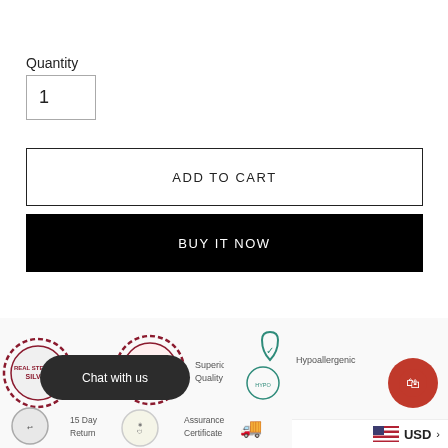Quantity
1
ADD TO CART
BUY IT NOW
[Figure (infographic): Trust badges strip showing: hallmarked sterling silver badge, superior quality thumbs-up badge with text 'Superior Quality', hypoallergenic badge with droplet icon, 15 day return badge, assurance certificate badge. Also overlaid with a 'Chat with us' dark rounded button, a red shopping cart FAB icon, a US flag with USD currency selector, and a delivery truck icon.]